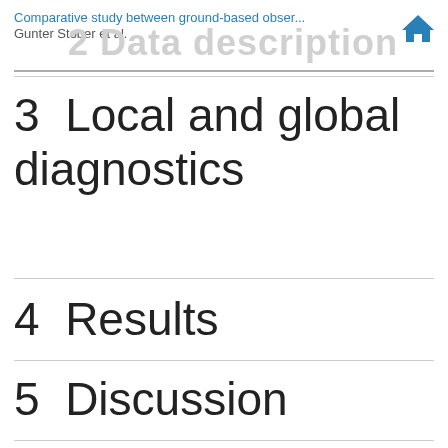Comparative study between ground-based obser... Gunter Stober et al.
3  Local and global diagnostics
4  Results
5  Discussion
6  Conclusion